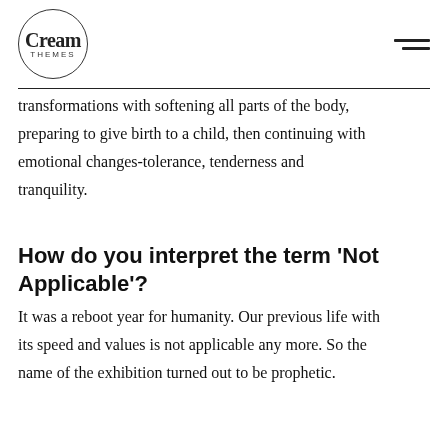Cream Themes logo and navigation
transformations with softening all parts of the body, preparing to give birth to a child, then continuing with emotional changes-tolerance, tenderness and tranquility.
How do you interpret the term ‘Not Applicable’?
It was a reboot year for humanity. Our previous life with its speed and values is not applicable any more. So the name of the exhibition turned out to be prophetic.